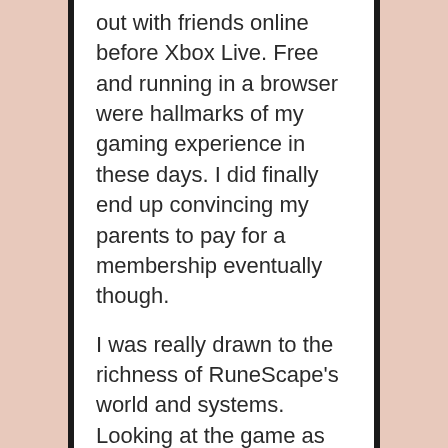out with friends online before Xbox Live. Free and running in a browser were hallmarks of my gaming experience in these days. I did finally end up convincing my parents to pay for a membership eventually though.

I was really drawn to the richness of RuneScape's world and systems. Looking at the game as an adult with info-laden wikis it feels a bit hard to believe. But, as a child there was always something new to see. My friends and I would